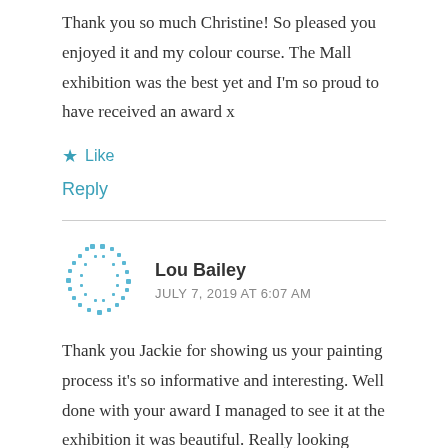Thank you so much Christine! So pleased you enjoyed it and my colour course. The Mall exhibition was the best yet and I'm so proud to have received an award x
★ Like
Reply
Lou Bailey
JULY 7, 2019 AT 6:07 AM
Thank you Jackie for showing us your painting process it's so informative and interesting. Well done with your award I managed to see it at the exhibition it was beautiful. Really looking forward to meeting up